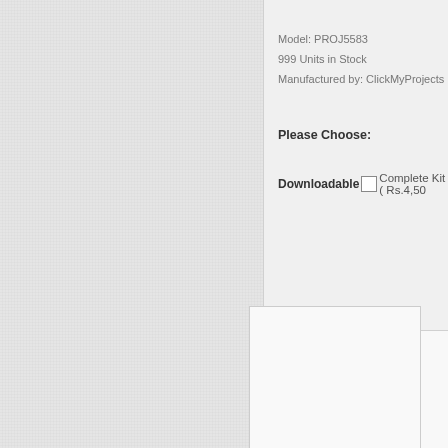Model: PROJ5583
999 Units in Stock
Manufactured by: ClickMyProjects
Please Choose:
Downloadable  Complete Kit ( Rs.4,50